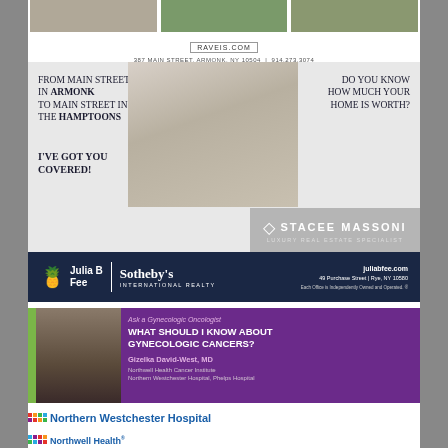[Figure (photo): Three real estate property photos at top]
RAVEIS.COM
387 MAIN STREET, ARMONK, NY 10504 | 914.273.3074
[Figure (illustration): Stacee Massoni real estate advertisement. Text: FROM MAIN STREET IN ARMONK TO MAIN STREET IN THE HAMPTOONS. I'VE GOT YOU COVERED! DO YOU KNOW HOW MUCH YOUR HOME IS WORTH? Stacee Massoni, Luxury Real Estate Specialist.]
[Figure (logo): Julia B Fee Sotheby's International Realty bar. juliabfee.com, 49 Purchase Street | Rye, NY 10580, Each Office is Independently Owned and Operated.]
[Figure (illustration): Ask a Gynecologic Oncologist. WHAT SHOULD I KNOW ABOUT GYNECOLOGIC CANCERS? Gizelka David-West, MD. Northwell Health Cancer Institute, Northern Westchester Hospital, Phelps Hospital.]
[Figure (logo): Northern Westchester Hospital Northwell Health logo]
Northern Westchester Hospital, Block advertisement